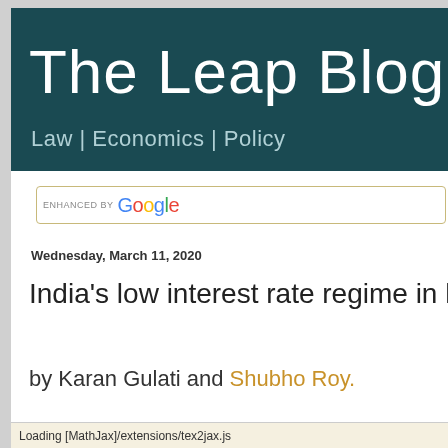The Leap Blog
Law | Economics | Policy
ENHANCED BY Google
Wednesday, March 11, 2020
India's low interest rate regime in litiga
by Karan Gulati and Shubho Roy.
Loading [MathJax]/extensions/tex2jax.js